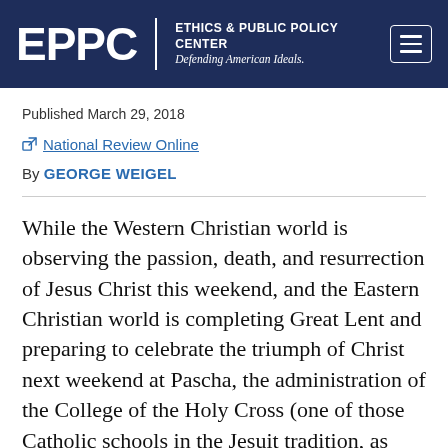EPPC | ETHICS & PUBLIC POLICY CENTER Defending American Ideals.
Published March 29, 2018
National Review Online
By GEORGE WEIGEL
While the Western Christian world is observing the passion, death, and resurrection of Jesus Christ this weekend, and the Eastern Christian world is completing Great Lent and preparing to celebrate the triumph of Christ next weekend at Pascha, the administration of the College of the Holy Cross (one of those Catholic schools in the Jesuit tradition, as they say these days) in Worcester, Mass., is in full damage control